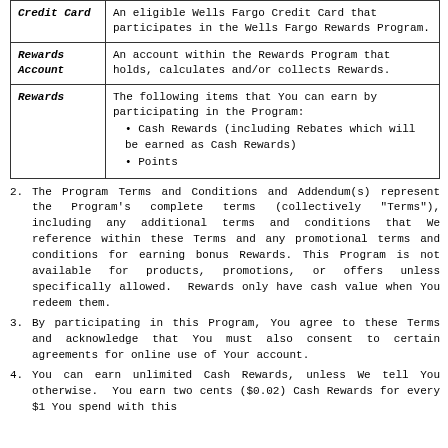| Term | Definition |
| --- | --- |
| Credit Card | An eligible Wells Fargo Credit Card that participates in the Wells Fargo Rewards Program. |
| Rewards Account | An account within the Rewards Program that holds, calculates and/or collects Rewards. |
| Rewards | The following items that You can earn by participating in the Program:
• Cash Rewards (including Rebates which will be earned as Cash Rewards)
• Points |
2. The Program Terms and Conditions and Addendum(s) represent the Program's complete terms (collectively "Terms"), including any additional terms and conditions that We reference within these Terms and any promotional terms and conditions for earning bonus Rewards. This Program is not available for products, promotions, or offers unless specifically allowed.  Rewards only have cash value when You redeem them.
3. By participating in this Program, You agree to these Terms and acknowledge that You must also consent to certain agreements for online use of Your account.
4. You can earn unlimited Cash Rewards, unless We tell You otherwise.  You earn two cents ($0.02) Cash Rewards for every $1 You spend with this